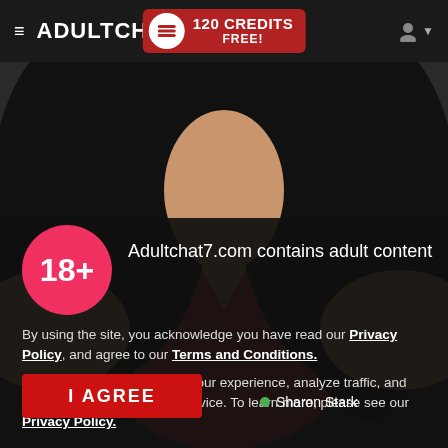≡ ADULTCHAT7  [120 CREDITS FREE!]
[Figure (photo): A woman with long curly dark hair wearing a red top, photographed from shoulders up, blurred background]
18+  Adultchat7.com contains adult content
By using the site, you acknowledge you have read our Privacy Policy, and agree to our Terms and Conditions.
We use cookies to optimize your experience, analyze traffic, and deliver more personalized service. To learn more, please see our Privacy Policy.
I AGREE
Sharon Stark